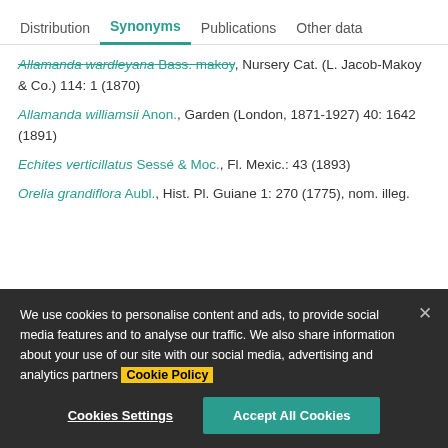Distribution | Synonyms | Publications | Other data
Allamanda wardleyana Bass. makoy, Nursery Cat. (L. Jacob-Makoy & Co.) 114: 1 (1870)
Allamanda williamsii Anon., Garden (London, 1871-1927) 40: 1642 (1891)
Echites verticillatus Sessé & Moc., Fl. Mexic.: 43 (1893)
Orelia grandiflora Aubl., Hist. Pl. Guiane 1: 270 (1775), nom. illeg.
We use cookies to personalise content and ads, to provide social media features and to analyse our traffic. We also share information about your use of our site with our social media, advertising and analytics partners Cookie Policy
Cookies Settings | Accept All Cookies